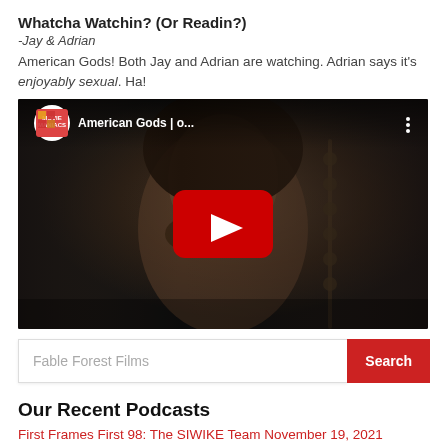Whatcha Watchin? (Or Readin?)
-Jay & Adrian
American Gods! Both Jay and Adrian are watching. Adrian says it's enjoyably sexual. Ha!
[Figure (screenshot): YouTube video embed thumbnail for 'American Gods | o...' from Movie Maniacs channel, showing a dark-toned face, with YouTube play button overlay and channel icon in top bar.]
Fable Forest Films
Our Recent Podcasts
First Frames First 98: The SIWIKE Team November 19, 2021